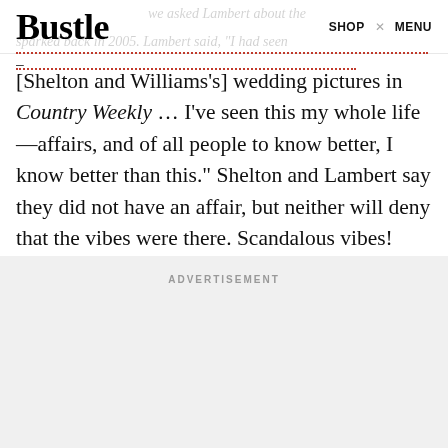Bustle   SHOP   MENU
[Shelton and Williams's] wedding pictures in Country Weekly … I've seen this my whole life —affairs, and of all people to know better, I know better than this." Shelton and Lambert say they did not have an affair, but neither will deny that the vibes were there. Scandalous vibes!
ADVERTISEMENT